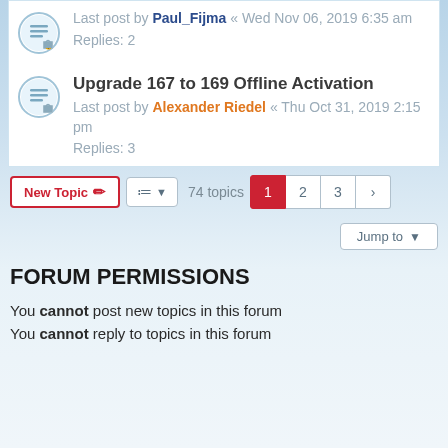Last post by Paul_Fijma « Wed Nov 06, 2019 6:35 am
Replies: 2
Upgrade 167 to 169 Offline Activation
Last post by Alexander Riedel « Thu Oct 31, 2019 2:15 pm
Replies: 3
New Topic | 74 topics  1 2 3 >
Jump to
FORUM PERMISSIONS
You cannot post new topics in this forum
You cannot reply to topics in this forum